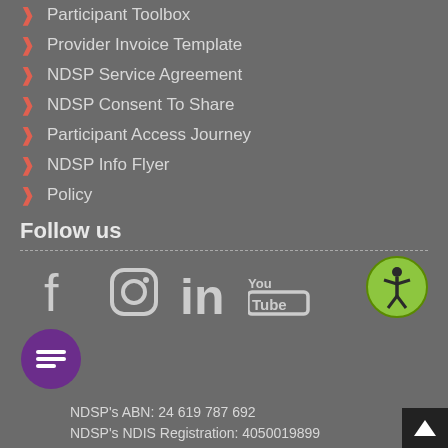Participant Toolbox
Provider Invoice Template
NDSP Service Agreement
NDSP Consent To Share
Participant Access Journey
NDSP Info Flyer
Policy
Follow us
[Figure (infographic): Social media icons: Facebook, Instagram, LinkedIn, YouTube]
[Figure (infographic): Accessibility icon - green circle with person figure]
[Figure (infographic): Chat button - purple circle with message icon]
NDSP's ABN: 24 619 787 692
NDSP's NDIS Registration: 4050019899